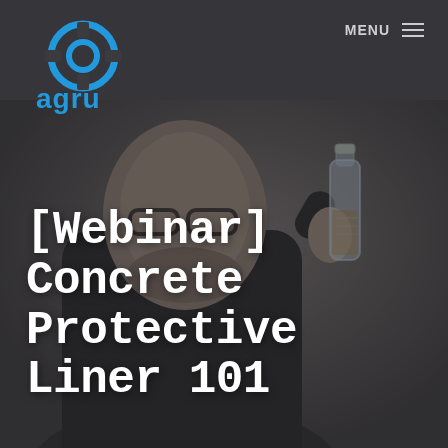[Figure (photo): Website screenshot showing the Agru company logo in the top left (blue circular logo with 'agru' text), a navigation menu in top right, and a background photo of a man in a dark shirt holding a clear plastic bottle, with a dark overlay. The page is a webinar promotional image.]
MENU
[Webinar] Concrete Protective Liner 101